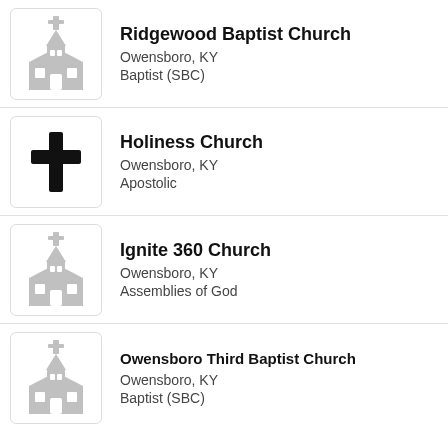[Figure (illustration): Gray church building icon with steeple]
Ridgewood Baptist Church
Owensboro, KY
Baptist (SBC)
[Figure (illustration): Black cross icon]
Holiness Church
Owensboro, KY
Apostolic
[Figure (illustration): Gray church building icon with steeple]
Ignite 360 Church
Owensboro, KY
Assemblies of God
[Figure (illustration): Gray church building icon with steeple]
Owensboro Third Baptist Church
Owensboro, KY
Baptist (SBC)